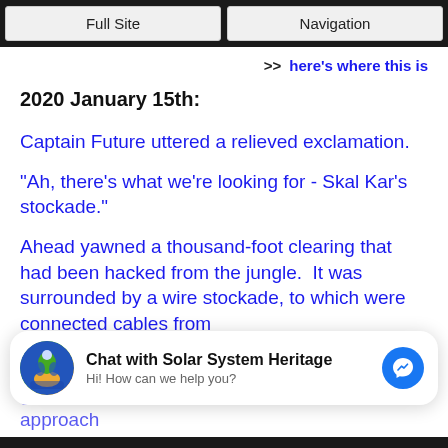Full Site | Navigation
>> here's where this is
2020 January 15th:
Captain Future uttered a relieved exclamation.
"Ah, there's what we're looking for - Skal Kar's stockade."
Ahead yawned a thousand-foot clearing that had been hacked from the jungle.  It was surrounded by a wire stockade, to which were connected cables from
[Figure (other): Chat widget: Chat with Solar System Heritage. Hi! How can we help you?]
gas-beasts that swarmed outside dared not approach